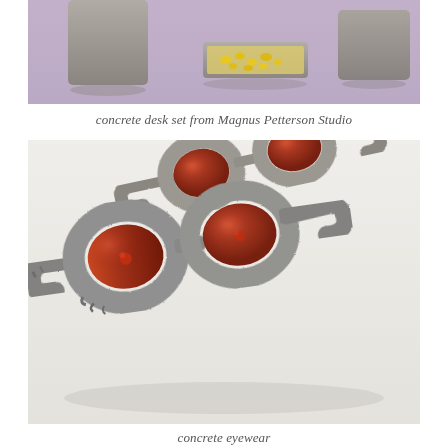[Figure (photo): Concrete desk set objects on a lavender/purple background, showing rectangular concrete blocks and a tray with small yellow items]
concrete desk set from Magnus Petterson Studio
[Figure (photo): Concrete eyewear/glasses with circular red-tinted lenses, shown on a white background. The frames are made of rough concrete material.]
concrete eyewear